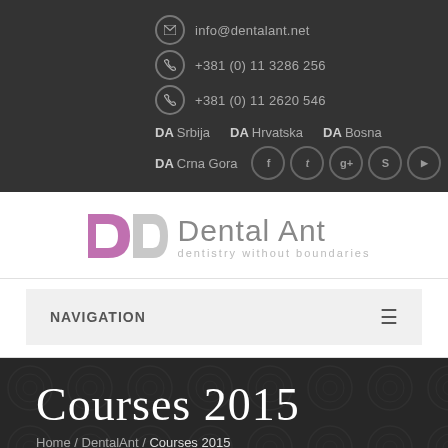info@dentalant.net | +381 (0) 11 3286 256 | +381 (0) 11 2620 546
DA Srbija  DA Hrvatska  DA Bosna
DA Crna Gora
[Figure (logo): Dental Ant logo with purple DA symbol and text 'Dental Ant dentistry without boundaries']
NAVIGATION
Courses 2015
Home / DentalAnt / Courses 2015